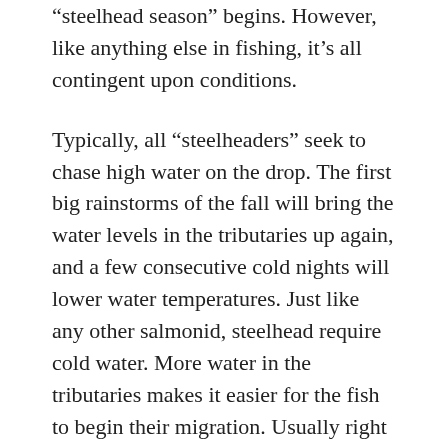“steelhead season” begins. However, like anything else in fishing, it’s all contingent upon conditions.
Typically, all “steelheaders” seek to chase high water on the drop. The first big rainstorms of the fall will bring the water levels in the tributaries up again, and a few consecutive cold nights will lower water temperatures. Just like any other salmonid, steelhead require cold water. More water in the tributaries makes it easier for the fish to begin their migration. Usually right at dusk and into nightfall is when I’ve seen some considerably large pushes of fish making their way through the creek mouths or estuaries. These fish can cover an astonishing number of river miles in a pretty short amount of time. Steelhead are almost constantly on the move and never resting for very long periods of time. I